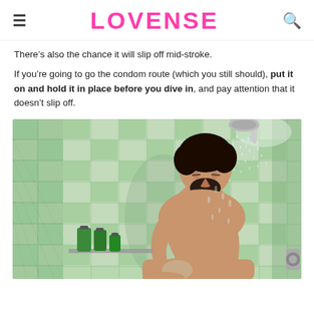LOVENSE
There’s also the chance it will slip off mid-stroke.
If you’re going to go the condom route (which you still should), put it on and hold it in place before you dive in, and pay attention that it doesn’t slip off.
[Figure (illustration): Illustration of a man sitting in a tiled shower with green tiles, water spraying from a showerhead above him.]